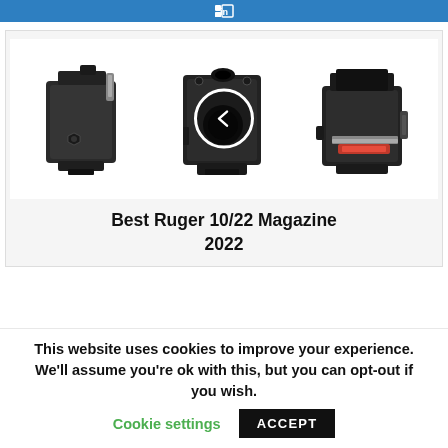[Figure (other): Blue header bar with white text/icon 'in' (LinkedIn icon)]
[Figure (photo): Three black Ruger 10/22 rifle magazines shown from different angles. The center magazine has a white circular play/back button overlay icon. Left magazine shows side view with hex bolt. Right magazine shows open loading port with red follower visible.]
Best Ruger 10/22 Magazine 2022
This website uses cookies to improve your experience. We'll assume you're ok with this, but you can opt-out if you wish. Cookie settings ACCEPT